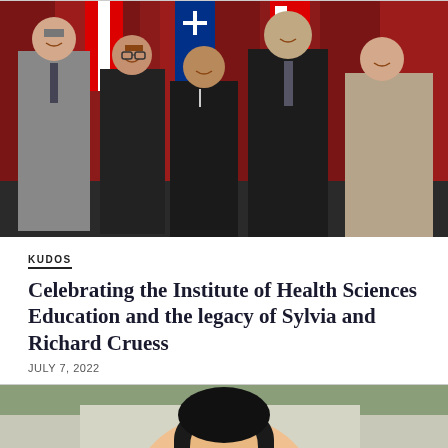[Figure (photo): Group photo of five people (two men, three women) standing in front of red curtains with Canadian and Quebec flags. They are dressed formally.]
KUDOS
Celebrating the Institute of Health Sciences Education and the legacy of Sylvia and Richard Cruess
JULY 7, 2022
[Figure (photo): Partial photo of a person with dark hair, shown from the shoulders up, outdoors with blurred background.]